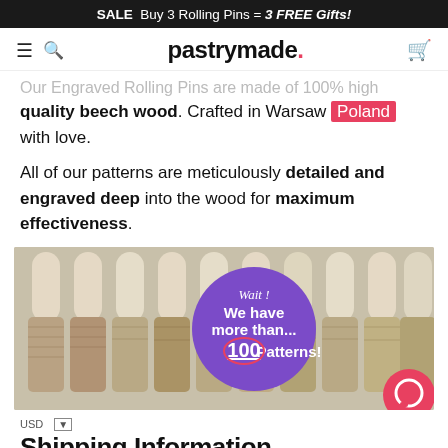SALE  Buy 3 Rolling Pins = 3 FREE Gifts!
pastrymade.
Our Engraved Rolling Pins are made of 100% high quality beech wood. Crafted in Warsaw Poland with love.
All of our patterns are meticulously detailed and engraved deep into the wood for maximum effectiveness.
[Figure (photo): Multiple engraved wooden rolling pins displayed side by side, showing intricate floral and decorative patterns engraved into the wood. A purple circular badge overlays the image with text: 'Wait! We have more than... 100 Patterns!']
USD
Shipping Information